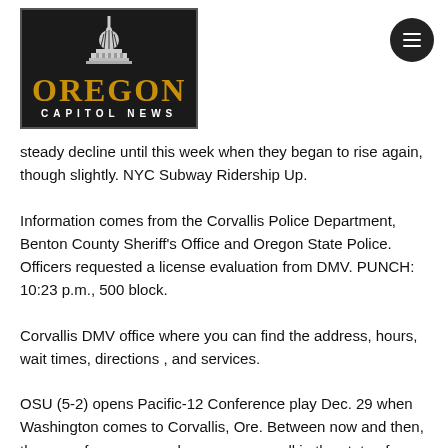[Figure (logo): Oregon Capitol News logo — black box with capitol building icon, yellow/gold OREGON text, white CAPITOL NEWS text below]
steady decline until this week when they began to rise again, though slightly. NYC Subway Ridership Up.
Information comes from the Corvallis Police Department, Benton County Sheriff's Office and Oregon State Police. Officers requested a license evaluation from DMV. PUNCH: 10:23 p.m., 500 block.
Corvallis DMV office where you can find the address, hours, wait times, directions , and services.
OSU (5-2) opens Pacific-12 Conference play Dec. 29 when Washington comes to Corvallis, Ore. Between now and then, there are four more nonleague games, all in the state of Oregon.